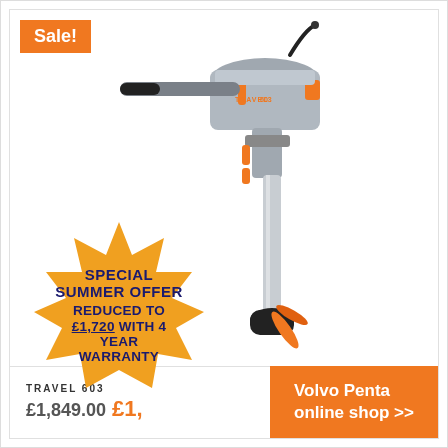[Figure (photo): Electric outboard motor (Travel 603) in grey and orange, shown at an angle with propeller visible at the bottom]
Sale!
SPECIAL SUMMER OFFER REDUCED TO £1,720 WITH 4 YEAR WARRANTY
TRAVEL 603
£1,849.00 £1,
Volvo Penta online shop >>